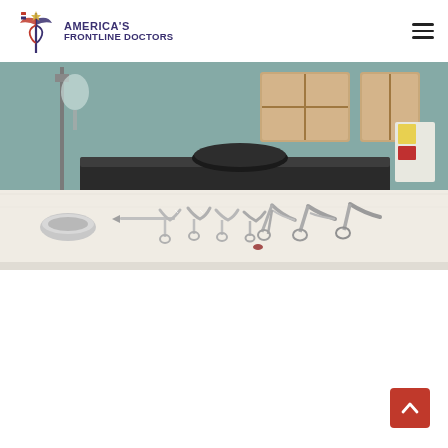America's Frontline Doctors — navigation logo and hamburger menu
[Figure (photo): Surgical instruments including forceps and other medical tools laid out on a white cloth-covered tray in the foreground, with a black padded operating/dental chair in the background in a clinical room with teal/mint colored walls and windows.]
[Figure (other): Back-to-top button: red square with upward-pointing chevron arrow, positioned bottom-right.]